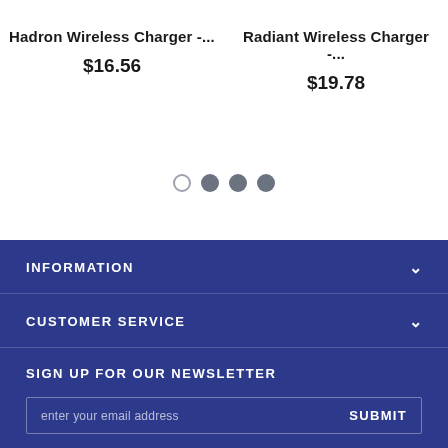Hadron Wireless Charger -...
$16.56
Radiant Wireless Charger -...
$19.78
[Figure (other): Carousel navigation dots: one empty circle and three filled gray circles]
INFORMATION
CUSTOMER SERVICE
SIGN UP FOR OUR NEWSLETTER
enter your email address
SUBMIT